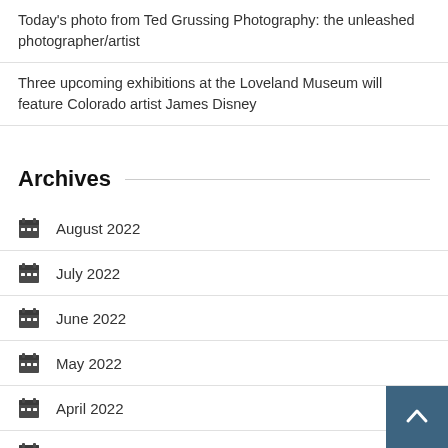Today's photo from Ted Grussing Photography: the unleashed photographer/artist
Three upcoming exhibitions at the Loveland Museum will feature Colorado artist James Disney
Archives
August 2022
July 2022
June 2022
May 2022
April 2022
March 2022
February 2022